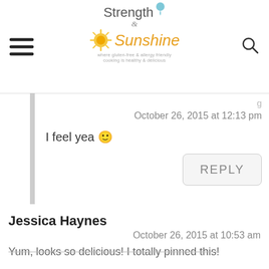Strength & Sunshine
October 26, 2015 at 12:13 pm
I feel yea 🙂
REPLY
Jessica Haynes
October 26, 2015 at 10:53 am
Yum, looks so delicious! I totally pinned this!